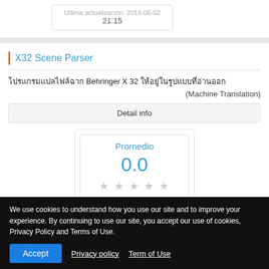Ultima actualizacion: 2019-06-02
21:15
X32 Scene Parser
โปรแกรมแปลไฟล์ฉาก Behringer X 32 ให้อยู่ในรูปแบบที่อ่านออก
(Machine Translation)
Detail info
Promedio
0.0
We use cookies to understand how you use our site and to improve your experience. By continuing to use our site, you accept our use of cookies, Privacy Policy and Terms of Use.
Accept    Privacy policy  Term of Use
07:18